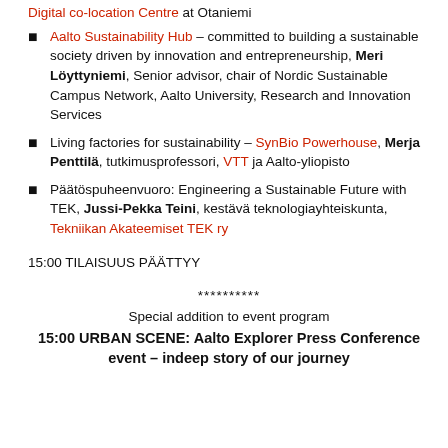Digital co-location Centre at Otaniemi
Aalto Sustainability Hub – committed to building a sustainable society driven by innovation and entrepreneurship, Meri Löyttyniemi, Senior advisor, chair of Nordic Sustainable Campus Network, Aalto University, Research and Innovation Services
Living factories for sustainability – SynBio Powerhouse, Merja Penttilä, tutkimusprofessori, VTT ja Aalto-yliopisto
Päätöspuheenvuoro: Engineering a Sustainable Future with TEK, Jussi-Pekka Teini, kestävä teknologiayhteiskunta, Tekniikan Akateemiset TEK ry
15:00 TILAISUUS PÄÄTTYY
**********
Special addition to event program
15:00 URBAN SCENE: Aalto Explorer Press Conference event – indeep story of our journey